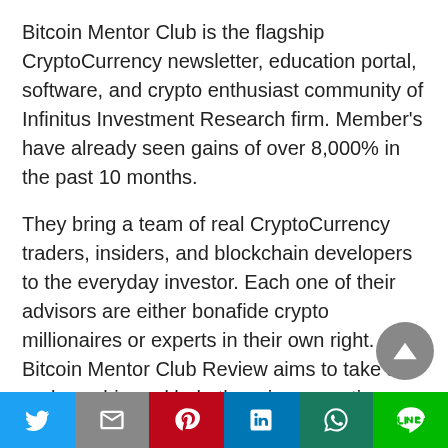Bitcoin Mentor Club is the flagship CryptoCurrency newsletter, education portal, software, and crypto enthusiast community of Infinitus Investment Research firm. Member's have already seen gains of over 8,000% in the past 10 months.
They bring a team of real CryptoCurrency traders, insiders, and blockchain developers to the everyday investor. Each one of their advisors are either bonafide crypto millionaires or experts in their own right. Bitcoin Mentor Club Review aims to take a rank newbie and help them in generating